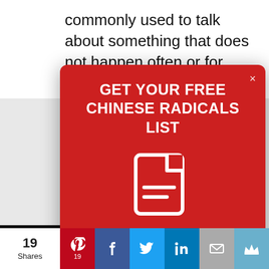commonly used to talk about something that does not happen often or for action
[Figure (screenshot): Modal popup with red header 'GET YOUR FREE CHINESE RADICALS LIST' with a document icon, and white bottom section 'Start studying the 214 Chinese radicals. Sign up to get the list sent to your inbox.']
Start studying the 214 Chinese radicals.
Sign up to get the list sent to your inbox.
19 Shares — Pinterest, Facebook, Twitter, LinkedIn, Email, Crown share buttons